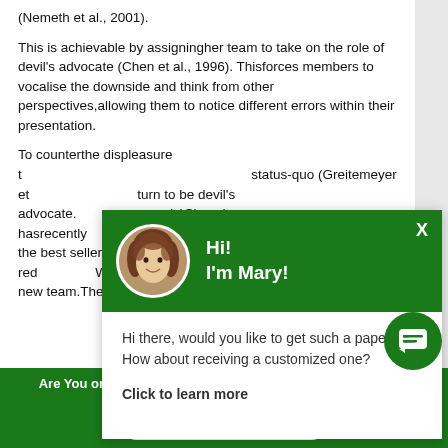(Nemeth et al., 2001).
This is achievable by assigningher team to take on the role of devil's advocate (Chen et al., 1996). Thisforces members to vocalise the downside and think from other perspectives,allowing them to notice different errors within their presentation.
To counterthe displeasure t... status-quo (Greitemeyer et... turn to be devil's advocate... words)Simon's hasrecently... teenage daughter and appe... be the best seller in Gavin's... employee's productivity red... Workplacescenario 2 (max... charge of a new team.They have had trouble bonding and...
[Figure (screenshot): Chat popup overlay with green header showing avatar photo and greeting 'Hi! I'm Mary!', body text 'Hi there, would you like to get such a paper? How about receiving a customized one?', bold link 'Click to learn more', and a green chat icon button.]
Are You on a Short Deadline? Let a Professional Writer Help You
HELP ME WITH WRITING